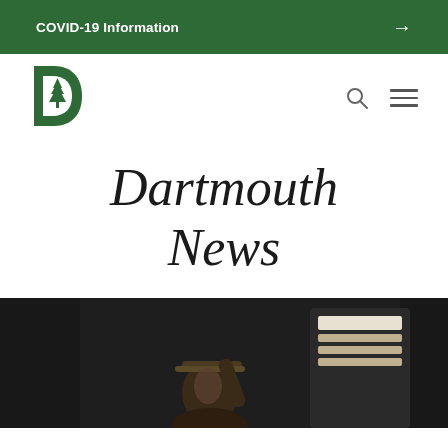COVID-19 Information →
[Figure (logo): Dartmouth College logo: green letter D with white pine tree emblem]
Dartmouth News
[Figure (photo): Dark photo of a person wearing a cap, partially illuminated, with signage visible in the background]